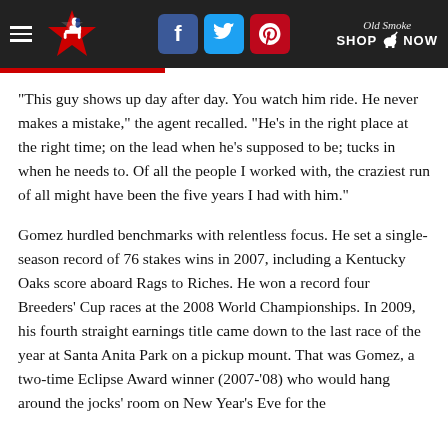Navigation header with logo, social icons (Facebook, Twitter, Pinterest), and Shop Now button
“This guy shows up day after day. You watch him ride. He never makes a mistake,” the agent recalled. “He’s in the right place at the right time; on the lead when he’s supposed to be; tucks in when he needs to. Of all the people I worked with, the craziest run of all might have been the five years I had with him.”
Gomez hurdled benchmarks with relentless focus. He set a single-season record of 76 stakes wins in 2007, including a Kentucky Oaks score aboard Rags to Riches. He won a record four Breeders’ Cup races at the 2008 World Championships. In 2009, his fourth straight earnings title came down to the last race of the year at Santa Anita Park on a pickup mount. That was Gomez, a two-time Eclipse Award winner (2007-‘08) who would hang around the jocks’ room on New Year’s Eve for the